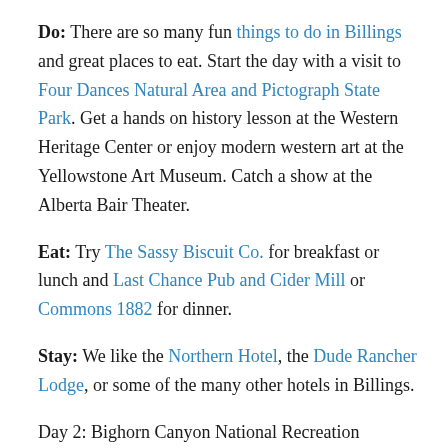Do: There are so many fun things to do in Billings and great places to eat. Start the day with a visit to Four Dances Natural Area and Pictograph State Park. Get a hands on history lesson at the Western Heritage Center or enjoy modern western art at the Yellowstone Art Museum. Catch a show at the Alberta Bair Theater.
Eat: Try The Sassy Biscuit Co. for breakfast or lunch and Last Chance Pub and Cider Mill or Commons 1882 for dinner.
Stay: We like the Northern Hotel, the Dude Rancher Lodge, or some of the many other hotels in Billings.
Day 2: Bighorn Canyon National Recreation